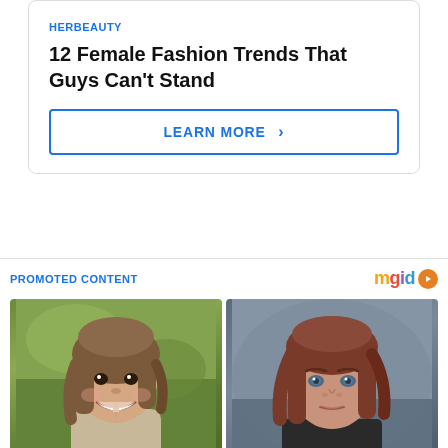HERBEAUTY
12 Female Fashion Trends That Guys Can't Stand
LEARN MORE >
PROMOTED CONTENT
[Figure (photo): Smiling young girl with light brown hair outdoors with green background]
[Figure (photo): Young woman with red-brown hair against blue-gray background]